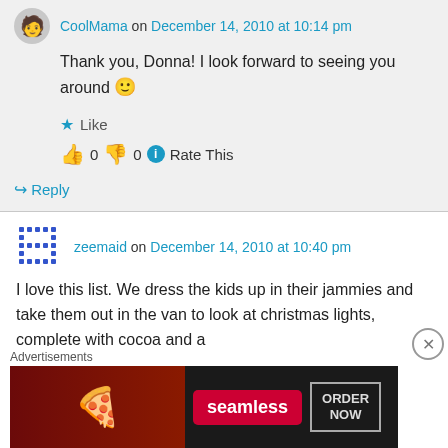CoolMama on December 14, 2010 at 10:14 pm
Thank you, Donna! I look forward to seeing you around 🙂
Like
👍 0 👎 0 ℹ Rate This
↪ Reply
zeemaid on December 14, 2010 at 10:40 pm
I love this list. We dress the kids up in their jammies and take them out in the van to look at christmas lights, complete with cocoa and a
Advertisements
[Figure (screenshot): Seamless food ordering advertisement banner with pizza image, Seamless logo button, and ORDER NOW button]